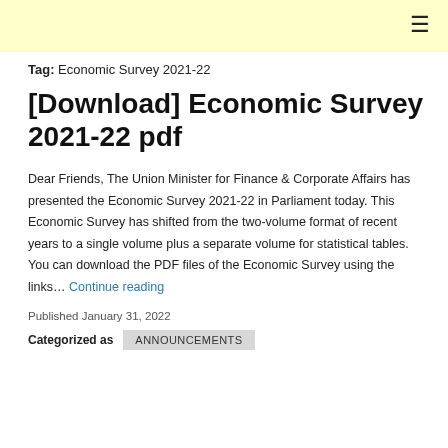≡
Tag: Economic Survey 2021-22
[Download] Economic Survey 2021-22 pdf
Dear Friends, The Union Minister for Finance & Corporate Affairs has presented the Economic Survey 2021-22 in Parliament today. This Economic Survey has shifted from the two-volume format of recent years to a single volume plus a separate volume for statistical tables. You can download the PDF files of the Economic Survey using the links… Continue reading
Published January 31, 2022
Categorized as ANNOUNCEMENTS